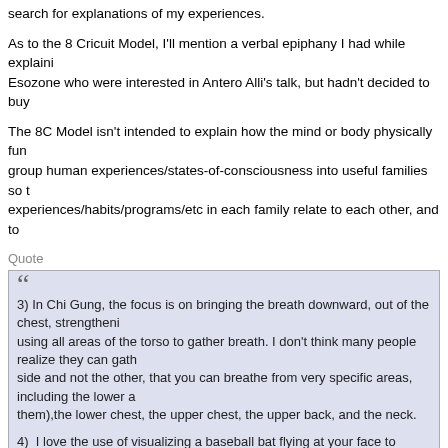search for explanations of my experiences.
As to the 8 Cricuit Model, I'll mention a verbal epiphany I had while explaining to some people at Esozone who were interested in Antero Alli's talk, but hadn't decided to buy
The 8C Model isn't intended to explain how the mind or body physically fun group human experiences/states-of-consciousness into useful families so th experiences/habits/programs/etc in each family relate to each other, and to
Quote
3) In Chi Gung, the focus is on bringing the breath downward, out of the chest, strengtheni using all areas of the torso to gather breath. I don't think many people realize they can gath side and not the other, that you can breathe from very specific areas, including the lower a them),the lower chest, the upper chest, the upper back, and the neck.

4) I love the use of visualizing a baseball bat flying at your face to quickly find areas of ten use in the future.

I'm guessing where you are going with this is to lower the breathing into the abdomen. I'm
This is the correct motorcycle. Lol.
The first breathing exercise I learned involved lying down in a relaxing envi the back muscles relax), and following the breath using a counting techniqu exercises, on a full stomach). The basic form is to inhale through the nostril breath at the end of the exhale, when you get to ten, start again at one. If y you then turn your attention back to the count.